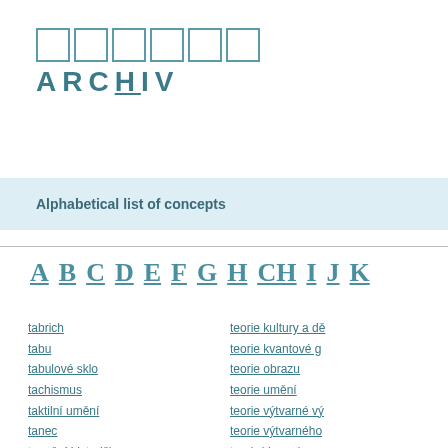[Figure (logo): Archive logo: six outlined squares above bold teal text ARCHIV with H underlined]
Alphabetical list of concepts
A B C D E F G H CH I J K
tabrich
tabu
tabulové sklo
tachismus
taktilní umění
tanec
taneční historička
taneční mistr
taneční teoretička
teorie kultury a dě
teorie kvantové g
teorie obrazu
teorie umění
teorie výtvarné vý
teorie výtvarného
teorie(drama)
tepaná měď
tepaný měděný p